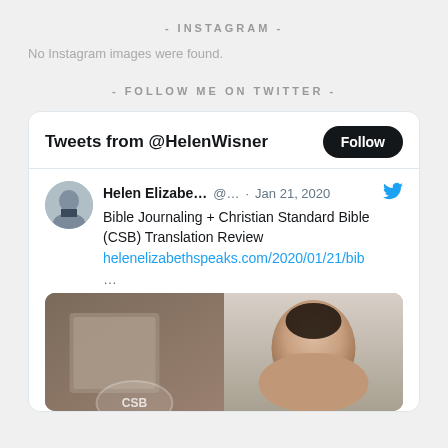- INSTAGRAM -
No Instagram images were found.
- FOLLOW ME ON TWITTER -
[Figure (screenshot): Twitter widget showing 'Tweets from @HelenWisner' with a Follow button, a tweet from Helen Elizabe... @... on Jan 21, 2020 about 'Bible Journaling + Christian Standard Bible (CSB) Translation Review' with link helenelizabethspeaks.com/2020/01/21/bib and a tweet image showing a woman holding a CSB Bible.]